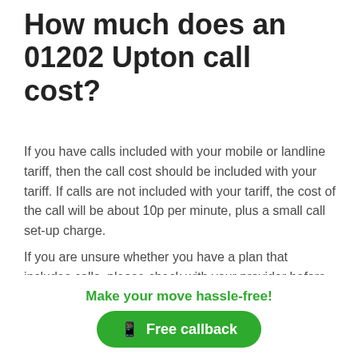How much does an 01202 Upton call cost?
If you have calls included with your mobile or landline tariff, then the call cost should be included with your tariff. If calls are not included with your tariff, the cost of the call will be about 10p per minute, plus a small call set-up charge.
If you are unsure whether you have a plan that includes calls, please check with your provider before making the call to avoid additional charges on your next phone bill.
How many dialling codes does the UK have?
Make your move hassle-free!
Free callback